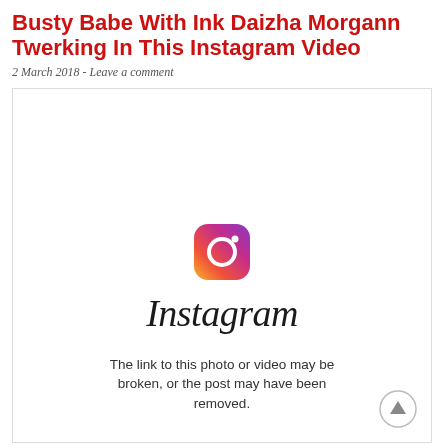Busty Babe With Ink Daizha Morgann Twerking In This Instagram Video
2 March 2018 - Leave a comment
[Figure (screenshot): Embedded Instagram post placeholder showing the Instagram camera icon logo, the word 'Instagram' in script font, and the message 'The link to this photo or video may be broken, or the post may have been removed.' with a scroll-up arrow button in the bottom right corner.]